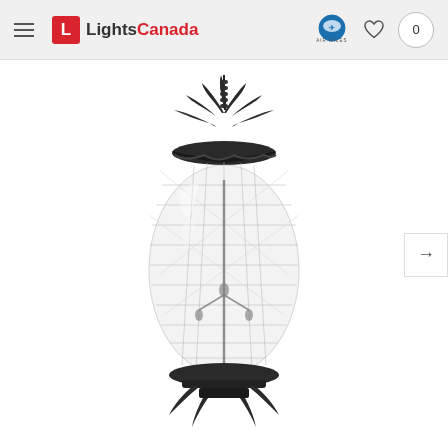LightsCanada
[Figure (photo): A black pineapple-shaped outdoor hanging pendant light with clear textured glass globe body, decorative pineapple leaf crown finial, hanging chain, and visible candelabra bulb sockets inside. Product photo on white background.]